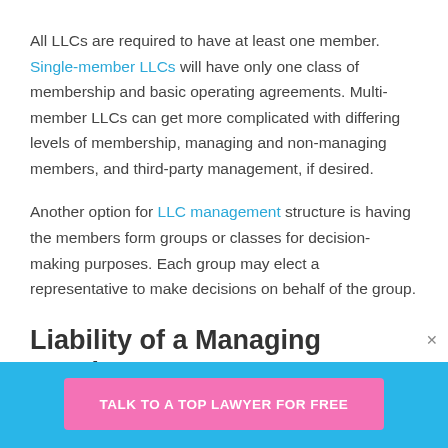All LLCs are required to have at least one member. Single-member LLCs will have only one class of membership and basic operating agreements. Multi-member LLCs can get more complicated with differing levels of membership, managing and non-managing members, and third-party management, if desired.
Another option for LLC management structure is having the members form groups or classes for decision-making purposes. Each group may elect a representative to make decisions on behalf of the group.
Liability of a Managing Member
No matter the particular type of management structure
TALK TO A TOP LAWYER FOR FREE